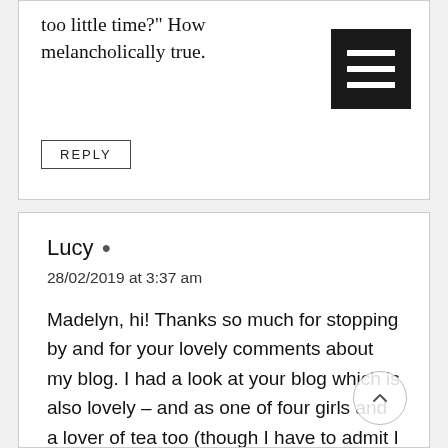too little time?" How melancholically true.
REPLY
Lucy
28/02/2019 at 3:37 am
Madelyn, hi! Thanks so much for stopping by and for your lovely comments about my blog. I had a look at your blog which is also lovely – and as one of four girls and a lover of tea too (though I have to admit I love a good chai) it sounds like we have a lot in common!
I have always joked that I want to be buried with all the books I never got around to reading but not sure if there's a